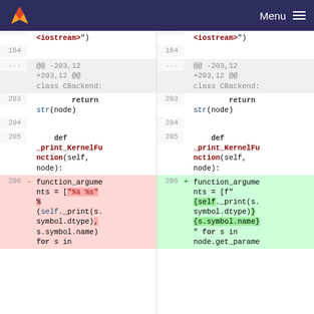Menu
[Figure (screenshot): Git diff view showing two-column side-by-side diff of source code changes. Left (old) and right (new) columns show Python code for _print_KernelFunction method. Line 206 shows a change from '%s %s' % (self._print(s.symbol.dtype), s.symbol.name) format string to an f-string with {self._print(s.symbol.dtype)}{s.symbol.name}.]